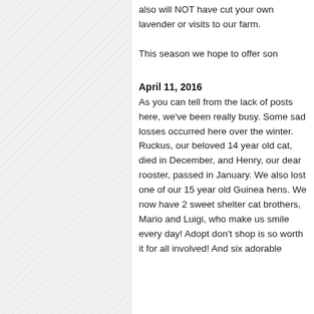also will NOT have cut your own lavender or visits to our farm.

This season we hope to offer son
April 11, 2016
As you can tell from the lack of posts here, we've been really busy. Some sad losses occurred here over the winter. Ruckus, our beloved 14 year old cat, died in December, and Henry, our dear rooster, passed in January. We also lost one of our 15 year old Guinea hens. We now have 2 sweet shelter cat brothers, Mario and Luigi, who make us smile every day! Adopt don't shop is so worth it for all involved! And six adorable